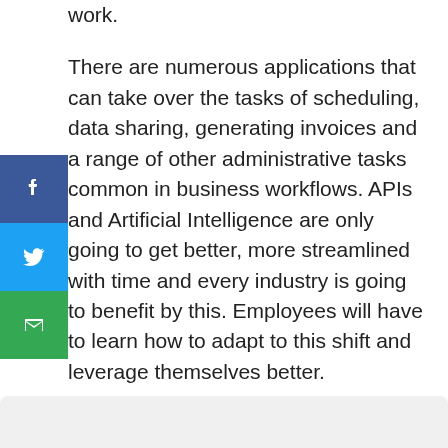work.
There are numerous applications that can take over the tasks of scheduling, data sharing, generating invoices and a range of other administrative tasks common in business workflows. APIs and Artificial Intelligence are only going to get better, more streamlined with time and every industry is going to benefit by this. Employees will have to learn how to adapt to this shift and leverage themselves better.
You can try your hand at creating automated workflows using our Quickwork platform. To know more about automation, get in touch with us.